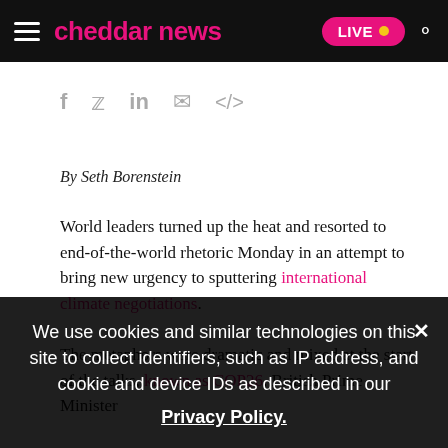cheddar news — LIVE
[Figure (other): Social sharing icons row: f (Facebook), Twitter bird, in (LinkedIn), envelope (email), </> (embed)]
By Seth Borenstein
World leaders turned up the heat and resorted to end-of-the-world rhetoric Monday in an attempt to bring new urgency to sputtering international climate negotiations.
The metaphors were dramatic and mixed at the start of the talks, known as COP26. British Prime Minister
We use cookies and similar technologies on this site to collect identifiers, such as IP address, and cookie and device IDs as described in our Privacy Policy.